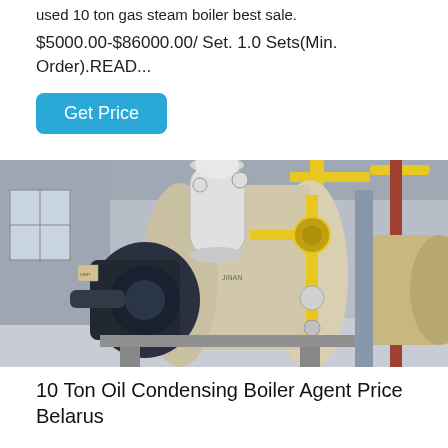used 10 ton gas steam boiler best sale.
$5000.00-$86000.00/ Set. 1.0 Sets(Min. Order).READ...
Get Price
[Figure (photo): Industrial gas steam boilers in a factory setting. Shows large cylindrical boilers, one with a dark burner assembly on the left and yellow gas piping system on the right, inside a factory building.]
10 Ton Oil Condensing Boiler Agent Price Belarus